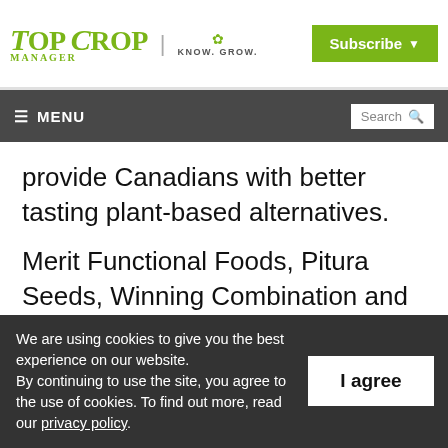Top Crop Manager | KNOW. GROW. | Subscribe
≡ MENU | Search
provide Canadians with better tasting plant-based alternatives.
Merit Functional Foods, Pitura Seeds, Winning Combination and the Manitoba Food Centre are collaborating to use patented technology from Burcon NutraScience to produce the new
We are using cookies to give you the best experience on our website. By continuing to use the site, you agree to the use of cookies. To find out more, read our privacy policy.